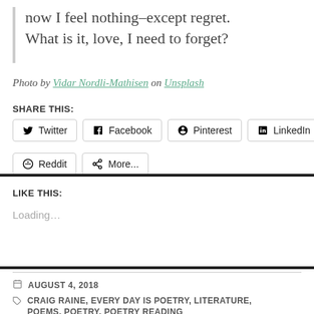now I feel nothing–except regret.
What is it, love, I need to forget?
Photo by Vidar Nordli-Mathisen on Unsplash
SHARE THIS:
Twitter
Facebook
Pinterest
LinkedIn
Reddit
More...
LIKE THIS:
Loading...
AUGUST 4, 2018
CRAIG RAINE, EVERY DAY IS POETRY, LITERATURE, POEMS, POETRY, POETRY READING